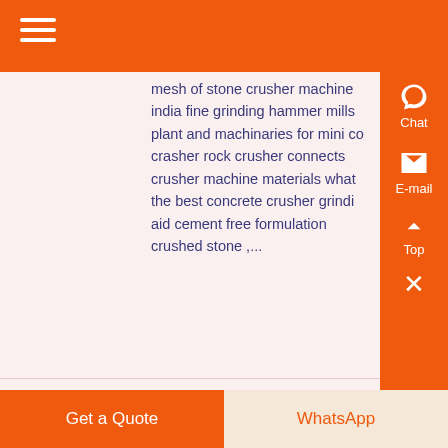mesh of stone crusher machine india fine grinding hammer mills plant and machinaries for mini co crasher rock crusher connects crusher machine materials what the best concrete crusher grindi aid cement free formulation crushed stone ,...
[Figure (photo): Industrial stone crushing plant with large pipes, machinery, and structural supports under a canopy]
The 9 Best Second Hand Machines Dealers in Chennai
Get a Quote | WhatsApp